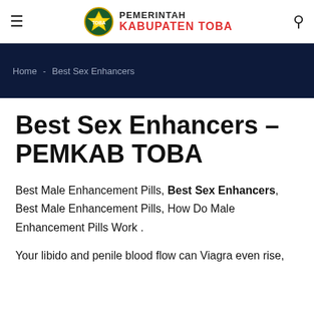PEMERINTAH KABUPATEN TOBA
Home - Best Sex Enhancers
Best Sex Enhancers – PEMKAB TOBA
Best Male Enhancement Pills, Best Sex Enhancers, Best Male Enhancement Pills, How Do Male Enhancement Pills Work .
Your libido and penile blood flow can Viagra even rise,